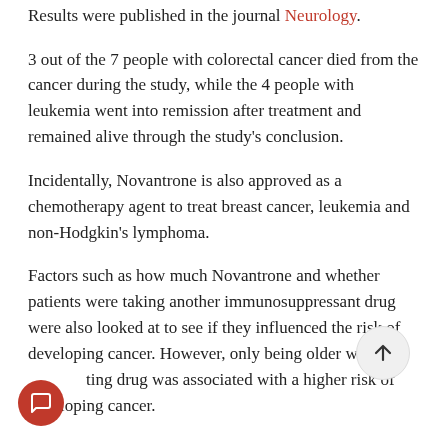Results were published in the journal Neurology.
3 out of the 7 people with colorectal cancer died from the cancer during the study, while the 4 people with leukemia went into remission after treatment and remained alive through the study's conclusion.
Incidentally, Novantrone is also approved as a chemotherapy agent to treat breast cancer, leukemia and non-Hodgkin's lymphoma.
Factors such as how much Novantrone and whether patients were taking another immunosuppressant drug were also looked at to see if they influenced the risk of developing cancer. However, only being older when starting drug was associated with a higher risk of developing cancer.